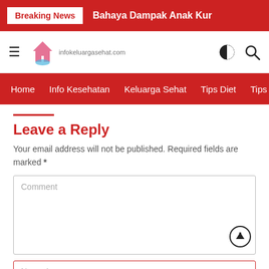Breaking News | Bahaya Dampak Anak Kur
[Figure (screenshot): Website header with logo for infokeluargasehat.com, hamburger menu, contrast toggle and search icon]
Home | Info Kesehatan | Keluarga Sehat | Tips Diet | Tips Se
Leave a Reply
Your email address will not be published. Required fields are marked *
Comment
Name *